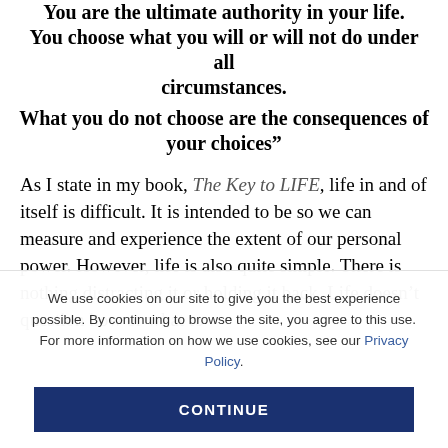You are the ultimate authority in your life. You choose what you will or will not do under all circumstances. What you do not choose are the consequences of your choices"
As I state in my book, The Key to LIFE, life in and of itself is difficult. It is intended to be so we can measure and experience the extent of our personal power. However, life is also quite simple. There is nothing distracting it or holding it back. Life doesn't question how or what to
We use cookies on our site to give you the best experience possible. By continuing to browse the site, you agree to this use. For more information on how we use cookies, see our Privacy Policy.